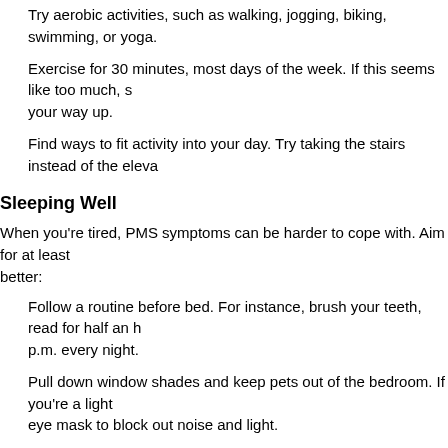Try aerobic activities, such as walking, jogging, biking, swimming, or yoga.
Exercise for 30 minutes, most days of the week. If this seems like too much, start with less and work your way up.
Find ways to fit activity into your day. Try taking the stairs instead of the eleva...
Sleeping Well
When you're tired, PMS symptoms can be harder to cope with. Aim for at least ... better:
Follow a routine before bed. For instance, brush your teeth, read for half an h... p.m. every night.
Pull down window shades and keep pets out of the bedroom. If you're a light ... eye mask to block out noise and light.
Take naps during the day if you're tired. Just 15 minutes can make life seem a...
Taking Time to Relax
Being relaxed can give you the energy to deal with life's ups and downs. This m... cope with. Learn to relax through simple techniques you can do anytime, anyw... with just 5 minutes a day. Try:
Taking in a slow, deep breath through your nose. Hold it for 5 counts, then ex... times.
Picturing yourself in a peaceful place, such as the countryside. Explore with y...